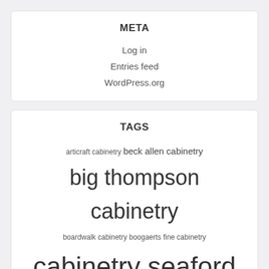META
Log in
Entries feed
WordPress.org
TAGS
articraft cabinetry beck allen cabinetry big thompson cabinetry boardwalk cabinetry boogaerts fine cabinetry cabinetry seaford de cabinetry work canyon cabinetry casa flores cabinetry